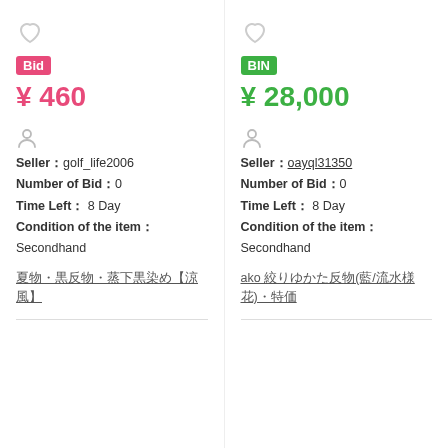[Figure (other): Heart/favorite icon (outline) for left listing]
Bid
¥ 460
[Figure (other): Person/seller icon for left listing]
Seller：golf_life2006
Number of Bid：0
Time Left：8 Day
Condition of the item：
Seconhand
夏物・黒反物・蒸下黒染め【涼風】
[Figure (other): Heart/favorite icon (outline) for right listing]
BIN
¥ 28,000
[Figure (other): Person/seller icon for right listing]
Seller：oayql31350
Number of Bid：0
Time Left：8 Day
Condition of the item：
Seconhand
ako 絞りゆかた反物(藍/流水様花)・特価